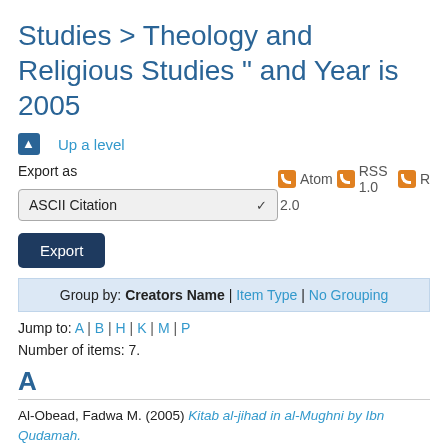Studies > Theology and Religious Studies " and Year is 2005
Up a level
Export as
ASCII Citation
Atom RSS 1.0 R 2.0
Export
Group by: Creators Name | Item Type | No Grouping
Jump to: A | B | H | K | M | P
Number of items: 7.
A
Al-Obead, Fadwa M. (2005) Kitab al-jihad in al-Mughni by Ibn Qudamah. MTh(R) thesis, University of Glasgow.